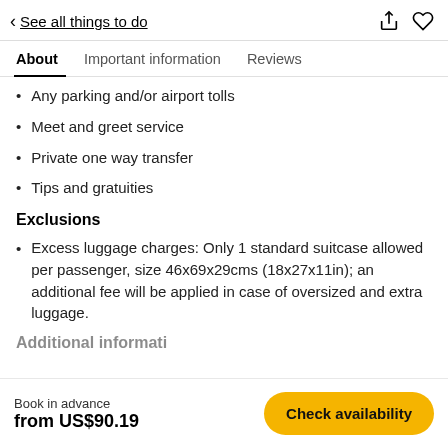< See all things to do
About  Important information  Reviews
Any parking and/or airport tolls
Meet and greet service
Private one way transfer
Tips and gratuities
Exclusions
Excess luggage charges: Only 1 standard suitcase allowed per passenger, size 46x69x29cms (18x27x11in); an additional fee will be applied in case of oversized and extra luggage.
Additional information
Book in advance
from US$90.19
Check availability